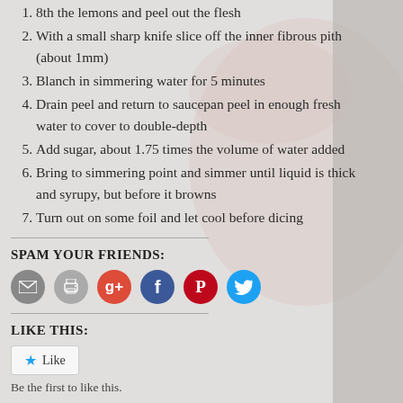8th the lemons and peel out the flesh
With a small sharp knife slice off the inner fibrous pith (about 1mm)
Blanch in simmering water for 5 minutes
Drain peel and return to saucepan peel in enough fresh water to cover to double-depth
Add sugar, about 1.75 times the volume of water added
Bring to simmering point and simmer until liquid is thick and syrupy, but before it browns
Turn out on some foil and let cool before dicing
SPAM YOUR FRIENDS:
[Figure (infographic): Social sharing icons: email, print, Google+, Facebook, Pinterest, Twitter]
LIKE THIS:
Like
Be the first to like this.
Posted in Cooking, Recipe | Tagged Bunny, Christmas,